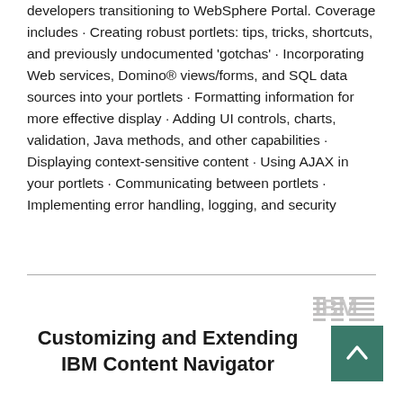developers transitioning to WebSphere Portal. Coverage includes · Creating robust portlets: tips, tricks, shortcuts, and previously undocumented 'gotchas' · Incorporating Web services, Domino® views/forms, and SQL data sources into your portlets · Formatting information for more effective display · Adding UI controls, charts, validation, Java methods, and other capabilities · Displaying context-sensitive content · Using AJAX in your portlets · Communicating between portlets · Implementing error handling, logging, and security
[Figure (logo): IBM logo in gray striped text style]
Customizing and Extending IBM Content Navigator